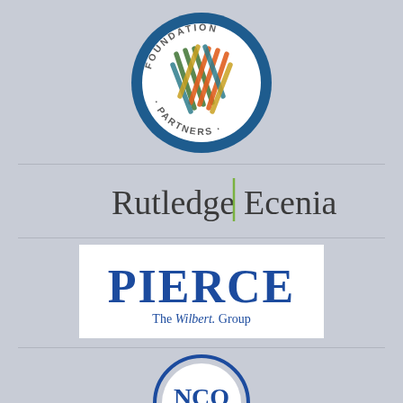[Figure (logo): Foundation Partners circular logo with colorful woven cross pattern inside a dark blue ring. Text reads FOUNDATION · PARTNERS around the ring.]
[Figure (logo): Rutledge | Ecenia text logo in dark gray with a green vertical bar separator between the two names.]
[Figure (logo): Pierce The Wilbert Group logo. PIERCE in large bold blue serif capital letters, with 'The Wilbert Group' in script/serif below, all on white background.]
[Figure (logo): Partial NCO logo visible at the bottom, circular shape, partially cropped.]